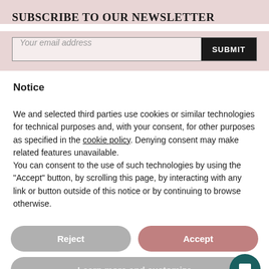SUBSCRIBE TO OUR NEWSLETTER
[Figure (screenshot): Email subscription input field with placeholder 'Your email address' and a black SUBMIT button]
Notice
We and selected third parties use cookies or similar technologies for technical purposes and, with your consent, for other purposes as specified in the cookie policy. Denying consent may make related features unavailable.
You can consent to the use of such technologies by using the "Accept" button, by scrolling this page, by interacting with any link or button outside of this notice or by continuing to browse otherwise.
[Figure (screenshot): Three buttons: grey 'Reject' pill button, pink/rose 'Accept' pill button, grey 'Learn more and customize' pill button, and a teal chat bubble icon in the corner]